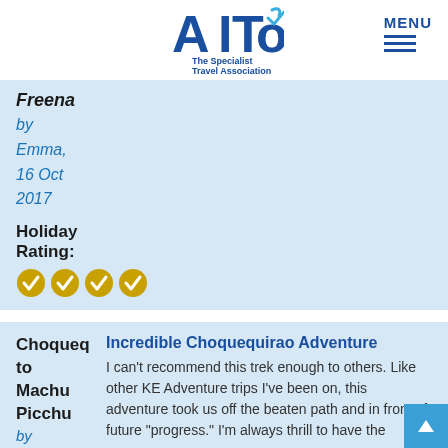[Figure (logo): AITO - The Specialist Travel Association logo, blue A and ITO with checkmark, text below]
MENU
Freena
by Emma, 16 Oct 2017
Holiday Rating:
[Figure (other): Four gold checkmark/circle rating icons]
Choqueq to Machu Picchu
by Travelgirl,
Incredible Choquequirao Adventure
I can't recommend this trek enough to others. Like other KE Adventure trips I've been on, this adventure took us off the beaten path and in front of future "progress." I'm always thrill to have the